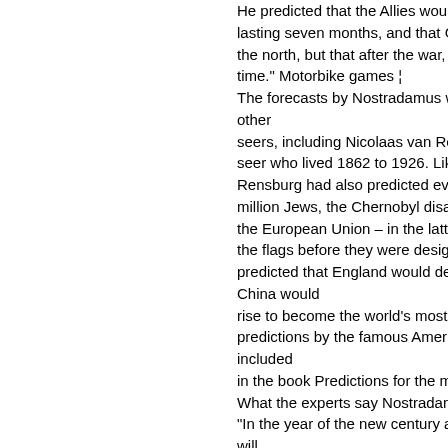He predicted that the Allies would win, with the war lasting seven months, and that Germany would attack from the north, but that after the war, the world would live in peace time." Motorbike games ¦ The forecasts by Nostradamus were compared to those of other seers, including Nicolaas van Rensburg, a South African seer who lived 1862 to 1926. Like Nostradamus, Van Rensburg had also predicted events like the murder of six million Jews, the Chernobyl disaster and the establishment of the European Union – in the latter case including the colors of the flags before they were designed. Van Rensburg also predicted that England would decline as a world power and China would rise to become the world's most powerful nation. Other predictions by the famous American seer Edgar Cayce, included in the book Predictions for the millennium. What the experts say Nostradamus wrote: "In the year of the new century and nine months, from the sky will come a great king of terror. The sky will burn at forty-five degrees. Fire approaches the great new city. In the city of York there will be a great collapse, war will begin when the city is large and the region ruinous." So it is quoted among rumors about the September 11 attack, as Nostradamus appears not to have actually predicted the World Trade Center attack or, at least...